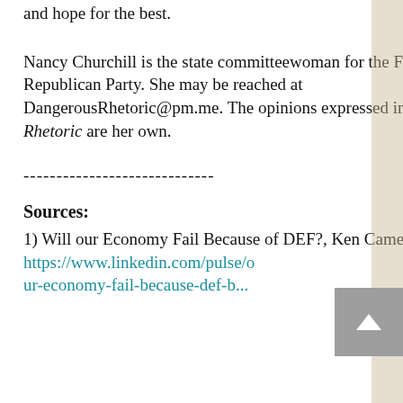and hope for the best.
Nancy Churchill is the state committeewoman for the Ferry County Republican Party. She may be reached at DangerousRhetoric@pm.me. The opinions expressed in Dangerous Rhetoric are her own.
-----------------------------
Sources:
1) Will our Economy Fail Because of DEF?, Ken Cameron, LinkedIn https://www.linkedin.com/pulse/o